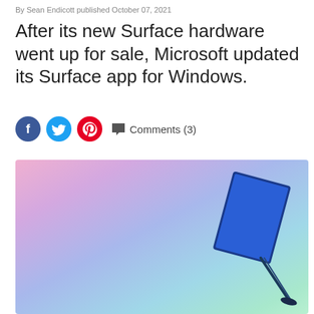By Sean Endicott published October 07, 2021
After its new Surface hardware went up for sale, Microsoft updated its Surface app for Windows.
[Figure (other): Social sharing icons: Facebook (blue circle with F), Twitter (light blue circle with bird), Pinterest (red circle with P), and Comments (3) with speech bubble icon]
[Figure (photo): A Microsoft Surface device (tablet/laptop hybrid) in blue/cobalt color propped up at an angle against a gradient background blending pink, purple, blue, and mint green colors]